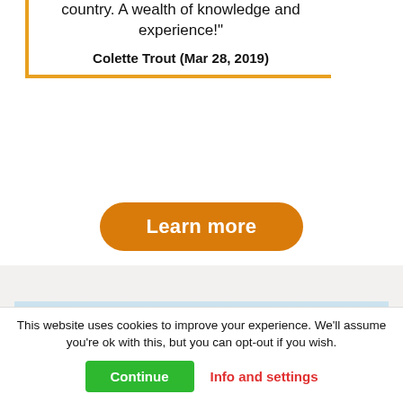country. A wealth of knowledge and experience!"
Colette Trout (Mar 28, 2019)
Learn more
[Figure (photo): Light blue gradient background image section]
This website uses cookies to improve your experience. We'll assume you're ok with this, but you can opt-out if you wish.
Continue
Info and settings